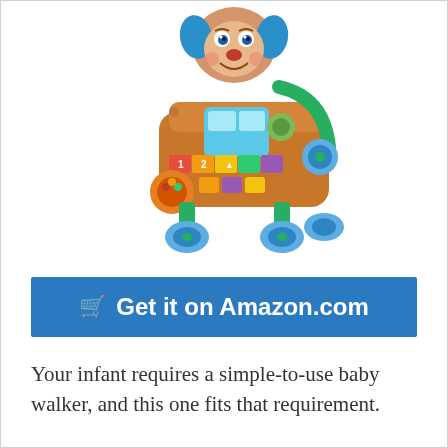[Figure (photo): Fisher-Price Laugh & Learn Smart Stages Learn with Puppy baby walker toy — a colorful dog-shaped push walker with blue wheels, green frame handles, interactive activity panel with buttons and shapes, musical piano keys, and various toys attached.]
Get it on Amazon.com
Your infant requires a simple-to-use baby walker, and this one fits that requirement.